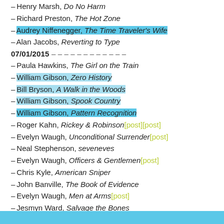– Henry Marsh, Do No Harm
– Richard Preston, The Hot Zone
– Audrey Niffenegger, The Time Traveler's Wife
– Alan Jacobs, Reverting to Type
07/01/2015 – – – – – – – – – – – –
– Paula Hawkins, The Girl on the Train
– William Gibson, Zero History
– Bill Bryson, A Walk in the Woods
– William Gibson, Spook Country
– William Gibson, Pattern Recognition
– Roger Kahn, Rickey & Robinson[post][post]
– Evelyn Waugh, Unconditional Surrender[post]
– Neal Stephenson, seveneves
– Evelyn Waugh, Officers & Gentlemen[post]
– Chris Kyle, American Sniper
– John Banville, The Book of Evidence
– Evelyn Waugh, Men at Arms[post]
– Jesmyn Ward, Salvage the Bones
– Olen Steinhauer, All the Old Knives